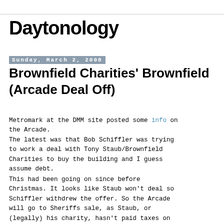Daytonology
Sunday, March 2, 2008
Brownfield Charities' Brownfield (Arcade Deal Off)
Metromark at the DMM site posted some info on the Arcade.
The latest was that Bob Schiffler was trying to work a deal with Tony Staub/Brownfield Charities to buy the building and I guess assume debt.
This had been going on since before Christmas. It looks like Staub won’t deal so Schiffler withdrew the offer. So the Arcade will go to Sheriffs sale, as Staub, or (legally) his charity, hasn’t paid taxes on